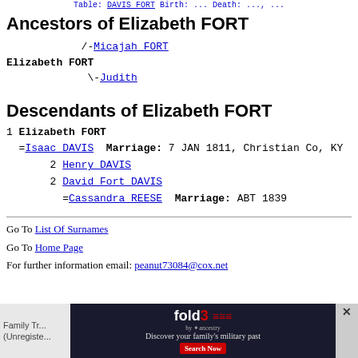Table: DAVIS FORT Birth: ... Death: ...,
Ancestors of Elizabeth FORT
/-Micajah FORT
Elizabeth FORT
\-Judith
Descendants of Elizabeth FORT
1 Elizabeth FORT
  =Isaac DAVIS  Marriage: 7 JAN 1811, Christian Co, KY
     2 Henry DAVIS
     2 David Fort DAVIS
       =Cassandra REESE  Marriage: ABT 1839
Go To List Of Surnames
Go To Home Page
For further information email: peanut73084@cox.net
Family Tr...
(Unregiste...